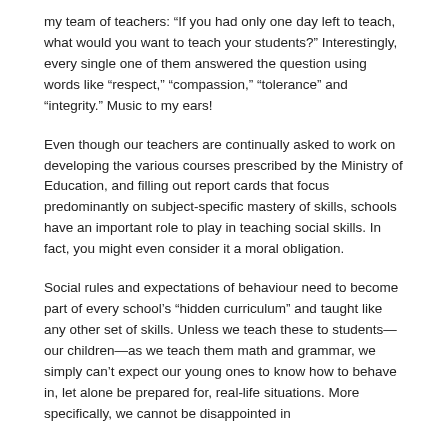my team of teachers: “If you had only one day left to teach, what would you want to teach your students?” Interestingly, every single one of them answered the question using words like “respect,” “compassion,” “tolerance” and “integrity.” Music to my ears!
Even though our teachers are continually asked to work on developing the various courses prescribed by the Ministry of Education, and filling out report cards that focus predominantly on subject-specific mastery of skills, schools have an important role to play in teaching social skills. In fact, you might even consider it a moral obligation.
Social rules and expectations of behaviour need to become part of every school’s “hidden curriculum” and taught like any other set of skills. Unless we teach these to students—our children—as we teach them math and grammar, we simply can’t expect our young ones to know how to behave in, let alone be prepared for, real-life situations. More specifically, we cannot be disappointed in